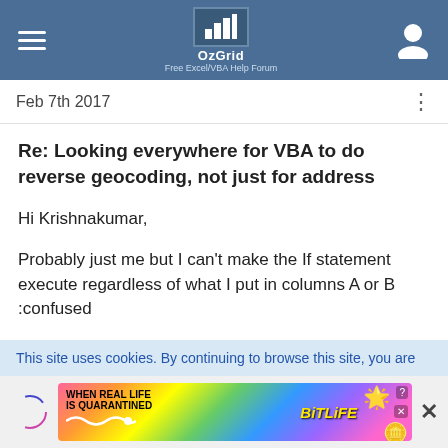OzGrid – Free Excel/VBA Help Forum
Feb 7th 2017
Re: Looking everywhere for VBA to do reverse geocoding, not just for address
Hi Krishnakumar,

Probably just me but I can't make the If statement execute regardless of what I put in columns A or B :confused

I haven't heard from angomera so here's hoping we've sorted it!!

Regards,
This site uses cookies. By continuing to browse this site, you are
[Figure (screenshot): BitLife advertisement banner: rainbow background with 'WHEN REAL LIFE IS QUARANTINED' text and BitLife logo]